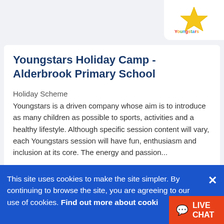[Figure (logo): Youngstars logo with colorful star graphic and text]
Youngstars Holiday Camp - Alderbrook Primary School
Holiday Scheme
Youngstars is a driven company whose aim is to introduce as many children as possible to sports, activities and a healthy lifestyle. Although specific session content will vary, each Youngstars session will have fun, enthusiasm and inclusion at its core. The energy and passion...
+ Add to Shortlist
07749 343116
This site uses cookies to make the site simpler. By continuing to browse the site, you are agreeing to our use of cookies. Find out more about cooki...